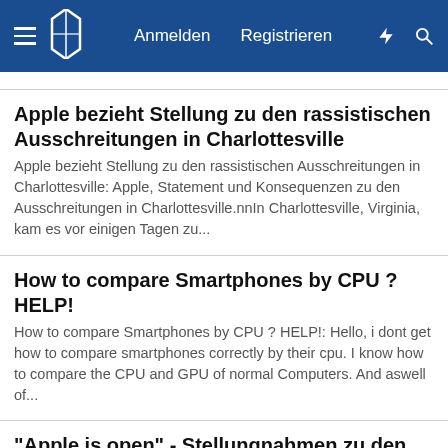Anmelden  Registrieren
Apple bezieht Stellung zu den rassistischen Ausschreitungen in Charlottesville
Apple bezieht Stellung zu den rassistischen Ausschreitungen in Charlottesville: Apple, Statement und Konsequenzen zu den Ausschreitungen in Charlottesville.nnIn Charlottesville, Virginia, kam es vor einigen Tagen zu...
How to compare Smartphones by CPU ? HELP!
How to compare Smartphones by CPU ? HELP!: Hello, i dont get how to compare smartphones correctly by their cpu. I know how to compare the CPU and GPU of normal Computers. And aswell of...
"Apple is open" - Stellungnahmen zu den Vorfällen in einem australischen Apple Store
"Apple is open" - Stellungnahmen zu den Vorfällen in einem australischen Apple Store: Apple gilt als offenes und vielfältiges Unternehmen. Die Herkunft oder Hautfarbe, die sexuelle Ausrichtung,eines Menschen, Dinge die im...